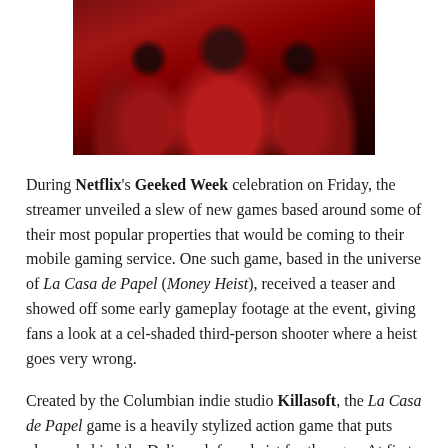[Figure (photo): Group of figures wearing red hooded jumpsuits and Dali masks, reminiscent of La Casa de Papel / Money Heist]
During Netflix's Geeked Week celebration on Friday, the streamer unveiled a slew of new games based around some of their most popular properties that would be coming to their mobile gaming service. One such game, based in the universe of La Casa de Papel (Money Heist), received a teaser and showed off some early gameplay footage at the event, giving fans a look at a cel-shaded third-person shooter where a heist goes very wrong.
Created by the Columbian indie studio Killasoft, the La Casa de Papel game is a heavily stylized action game that puts players behind the Dali mask for a heist for the ages. At first glance, it gives off big-time Killer7 vibes thanks to its cel-shading and simplified designs. All the important characters really pop with color against the many off-white and faded backgrounds, giving it a look that stands out from the typical third-person shooter. While there will be gunplay as the heist inevitably goes live, much of the gameplay is focused on the stealthier